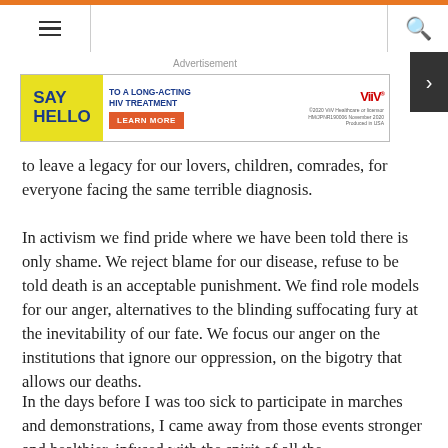Navigation header with menu and search icons
[Figure (other): Advertisement banner for ViiV Healthcare HIV long-acting treatment. Text: SAY HELLO TO A LONG-ACTING HIV TREATMENT LEARN MORE. ©2020 ViiV Healthcare or licensor HM/JPNR190006 November 2020 Produced in USA]
to leave a legacy for our lovers, children, comrades, for everyone facing the same terrible diagnosis.
In activism we find pride where we have been told there is only shame. We reject blame for our disease, refuse to be told death is an acceptable punishment. We find role models for our anger, alternatives to the blinding suffocating fury at the inevitability of our fate. We focus our anger on the institutions that ignore our oppression, on the bigotry that allows our deaths.
In the days before I was too sick to participate in marches and demonstrations, I came away from those events stronger and healthier, infused with the spirit of all the